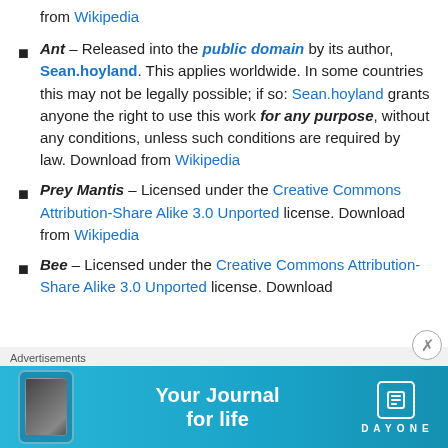from Wikipedia
Ant – Released into the public domain by its author, Sean.hoyland. This applies worldwide. In some countries this may not be legally possible; if so: Sean.hoyland grants anyone the right to use this work for any purpose, without any conditions, unless such conditions are required by law. Download from Wikipedia
Prey Mantis – Licensed under the Creative Commons Attribution-Share Alike 3.0 Unported license. Download from Wikipedia
Bee – Licensed under the Creative Commons Attribution-Share Alike 3.0 Unported license. Download
Advertisements
[Figure (screenshot): Day One app advertisement banner with text 'Your Journal for life' and Day One logo on cyan/blue background]